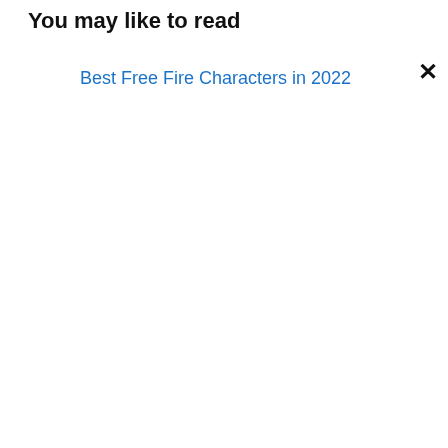You may like to read
Best Free Fire Characters in 2022
×